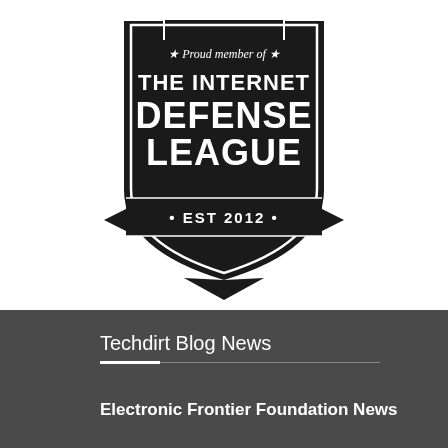[Figure (logo): Internet Defense League badge/shield logo. Black shield shape with white text reading 'Proud member of THE INTERNET DEFENSE LEAGUE · EST 2012 ·' with banner ribbons at the bottom.]
Techdirt Blog News
Electronic Frontier Foundation News